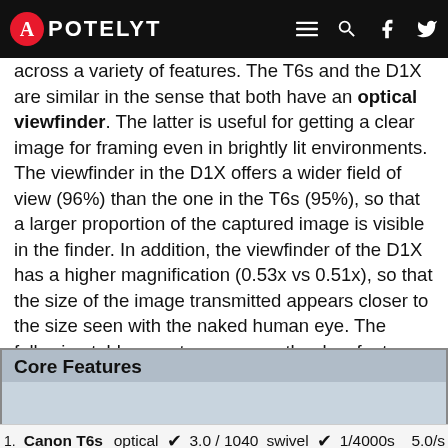APOTELYT
across a variety of features. The T6s and the D1X are similar in the sense that both have an optical viewfinder. The latter is useful for getting a clear image for framing even in brightly lit environments. The viewfinder in the D1X offers a wider field of view (96%) than the one in the T6s (95%), so that a larger proportion of the captured image is visible in the finder. In addition, the viewfinder of the D1X has a higher magnification (0.53x vs 0.51x), so that the size of the image transmitted appears closer to the size seen with the naked human eye. The following table reports on some other key feature differences and similarities of the Canon T6s, the Nikon D1X, and comparable cameras.
|  | Camera | Viewfinder |  | Screen | Screen type |  | Shutter | FPS |
| --- | --- | --- | --- | --- | --- | --- | --- | --- |
| 1. | Canon T6s | optical | ✓ | 3.0 / 1040 | swivel | ✓ | 1/4000s | 5.0/s |
| 2. | Nikon D1X | optical | ✓ | 2.0 / 120 | fixed | ↓ | 1/16000s | 3.0/s |